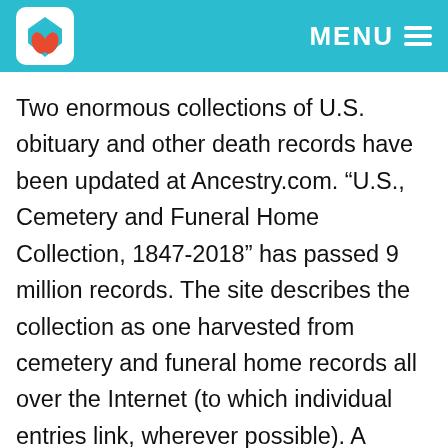MENU
Two enormous collections of U.S. obituary and other death records have been updated at Ancestry.com. “U.S., Cemetery and Funeral Home Collection, 1847-2018” has passed 9 million records. The site describes the collection as one harvested from cemetery and funeral home records all over the Internet (to which individual entries link, wherever possible). A related collection, “U.S., Obituary Collection, 1930-2018,” now has nearly 40 million records, and is also described as a compilation of records gleaned from many resources online.